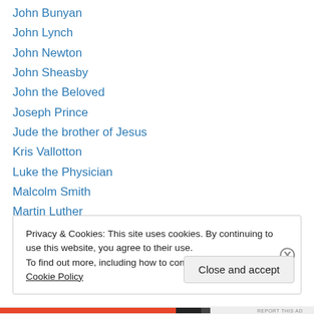John Bunyan
John Lynch
John Newton
John Sheasby
John the Beloved
Joseph Prince
Jude the brother of Jesus
Kris Vallotton
Luke the Physician
Malcolm Smith
Martin Luther
Martyn Lloyd-Jones
Max Lucado
Privacy & Cookies: This site uses cookies. By continuing to use this website, you agree to their use.
To find out more, including how to control cookies, see here: Cookie Policy
Close and accept